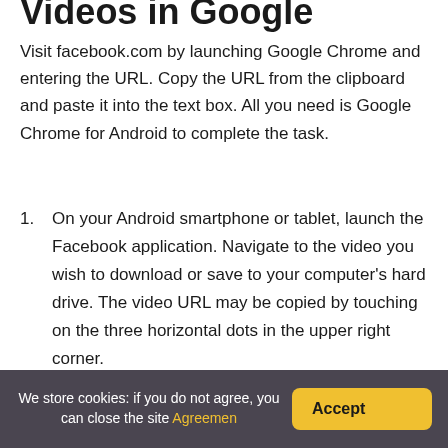Videos in Google Chrome:
Visit facebook.com by launching Google Chrome and entering the URL. Copy the URL from the clipboard and paste it into the text box. All you need is Google Chrome for Android to complete the task.
On your Android smartphone or tablet, launch the Facebook application. Navigate to the video you wish to download or save to your computer's hard drive. The video URL may be copied by touching on the three horizontal dots in the upper right corner.
How can I download Facebook
We store cookies: if you do not agree, you can close the site Agreemen